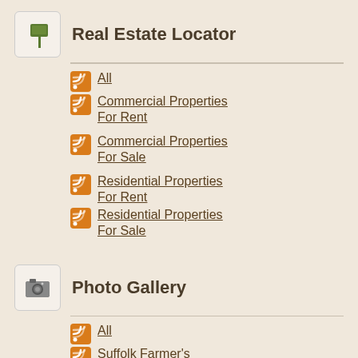Real Estate Locator
All
Commercial Properties For Rent
Commercial Properties For Sale
Residential Properties For Rent
Residential Properties For Sale
Photo Gallery
All
Suffolk Farmer's Market
Visit Suffolk
Visitor Center Gift Shop
Community Connection